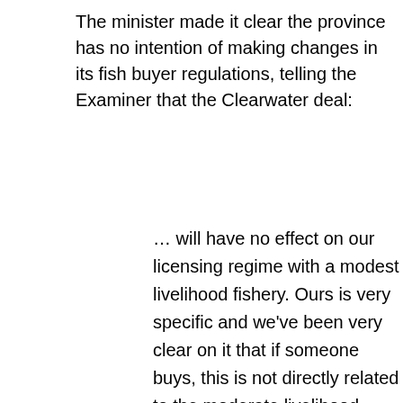The minister made it clear the province has no intention of making changes in its fish buyer regulations, telling the Examiner that the Clearwater deal:
… will have no effect on our licensing regime with a modest livelihood fishery. Ours is very specific and we've been very clear on it that if someone buys, this is not directly related to the moderate livelihood fishery, totally, if anyone is fishing outside of the season, anyone that doesn't have a proper license from DFO, they're not permitted to buy lobsters or any other product, not just lobsters from that individual. And that doesn't matter what fish plant it is or what buyer it is. The rules are all the same, it's very clearly laid out in our regulations and we've got DFO clarify…